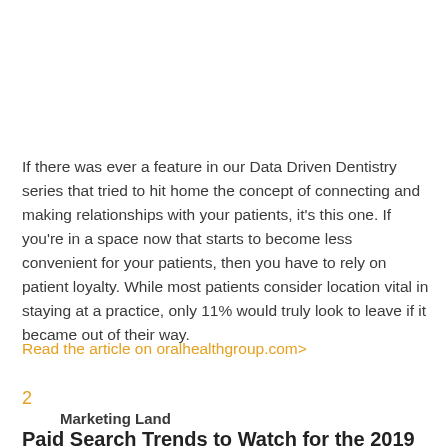If there was ever a feature in our Data Driven Dentistry series that tried to hit home the concept of connecting and making relationships with your patients, it's this one. If you're in a space now that starts to become less convenient for your patients, then you have to rely on patient loyalty. While most patients consider location vital in staying at a practice, only 11% would truly look to leave if it became out of their way.
Read the article on oralhealthgroup.com>
2
Marketing Land
Paid Search Trends to Watch for the 2019